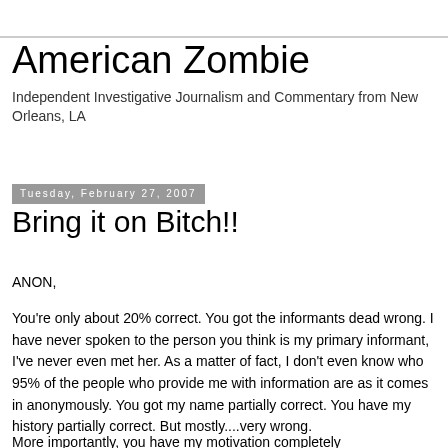American Zombie
Independent Investigative Journalism and Commentary from New Orleans, LA
Tuesday, February 27, 2007
Bring it on Bitch!!
ANON,
You're only about 20% correct. You got the informants dead wrong. I have never spoken to the person you think is my primary informant, I've never even met her. As a matter of fact, I don't even know who 95% of the people who provide me with information are as it comes in anonymously. You got my name partially correct. You have my history partially correct. But mostly....very wrong.
More importantly, you have my motivation completely